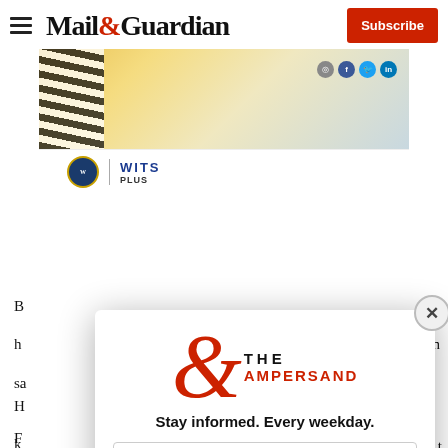Mail&Guardian
[Figure (photo): Advertisement banner with zebra-stripe pattern, golden wave design, and social media icons for Instagram, Facebook, Twitter, LinkedIn. WITS logo and WITS text below.]
B... [article text partially visible] ...t h... [article text partially visible] ...n sa...
H... k... Ju... fa...
[Figure (other): Modal popup for The Ampersand newsletter signup. Features a large red ampersand symbol with 'THE AMPERSAND' text, tagline 'Stay informed. Every weekday.', an email address input field, and a red 'Signup now' button. A close (X) button in the top right corner.]
F... E...